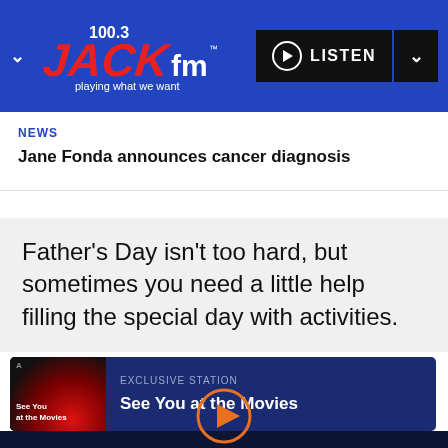100.3 JACK fm — playing what we want — LISTEN
NEWS
Jane Fonda announces cancer diagnosis
Father's Day isn't too hard, but sometimes you need a little help filling the special day with activities.
[Figure (other): Promotional card for 'See You at the Movies' exclusive station with album art showing red cinematic background]
Exclusive Station — See You at the Movies